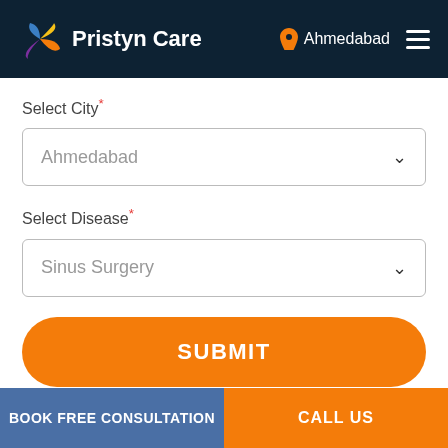Pristyn Care — Ahmedabad
Select City*
Ahmedabad
Select Disease*
Sinus Surgery
SUBMIT
BOOK FREE CONSULTATION
CALL US